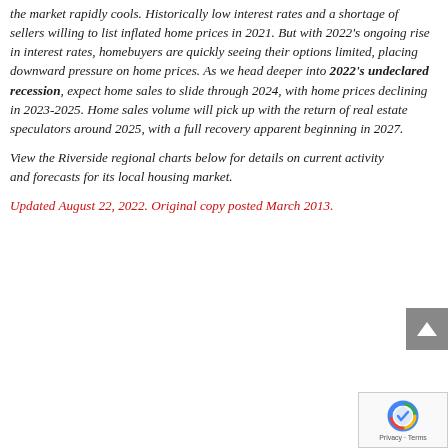the market rapidly cools. Historically low interest rates and a shortage of sellers willing to list inflated home prices in 2021. But with 2022's ongoing rise in interest rates, homebuyers are quickly seeing their options limited, placing downward pressure on home prices. As we head deeper into 2022's undeclared recession, expect home sales to slide through 2024, with home prices declining in 2023-2025. Home sales volume will pick up with the return of real estate speculators around 2025, with a full recovery apparent beginning in 2027.
View the Riverside regional charts below for details on current activity and forecasts for its local housing market.
Updated August 22, 2022. Original copy posted March 2013.